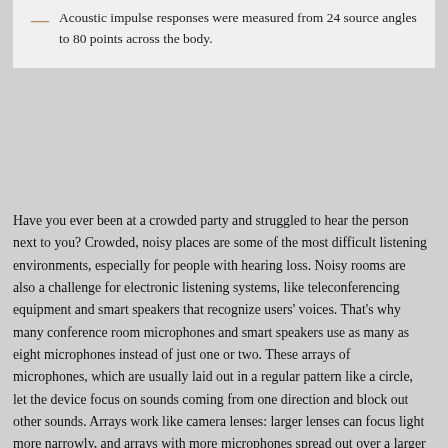— Acoustic impulse responses were measured from 24 source angles to 80 points across the body.
Have you ever been at a crowded party and struggled to hear the person next to you? Crowded, noisy places are some of the most difficult listening environments, especially for people with hearing loss. Noisy rooms are also a challenge for electronic listening systems, like teleconferencing equipment and smart speakers that recognize users' voices. That's why many conference room microphones and smart speakers use as many as eight microphones instead of just one or two. These arrays of microphones, which are usually laid out in a regular pattern like a circle, let the device focus on sounds coming from one direction and block out other sounds. Arrays work like camera lenses: larger lenses can focus light more narrowly, and arrays with more microphones spread out over a larger area can better distinguish between sounds from different directions.